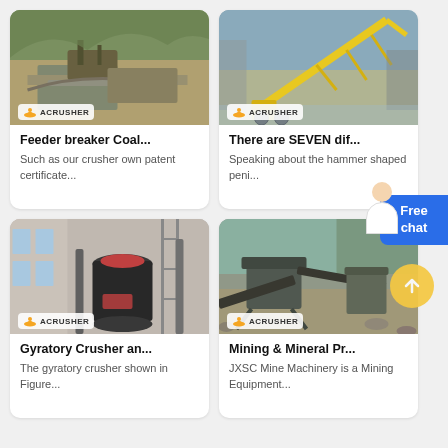[Figure (photo): Mining crusher machine in rocky outdoor quarry setting with mountains in background. ACRUSHER logo badge at bottom left.]
Feeder breaker Coal...
Such as our crusher own patent certificate...
[Figure (photo): Yellow mobile conveyor/screening machine on flooded ground near buildings. ACRUSHER logo badge at bottom left.]
There are SEVEN dif...
Speaking about the hammer shaped peni...
[Figure (photo): Gyratory crusher machine inside industrial building with scaffolding. ACRUSHER logo badge at bottom left.]
Gyratory Crusher an...
The gyratory crusher shown in Figure...
[Figure (photo): Mining crushing plant with jaw crusher and conveyor belts in rocky outdoor setting. ACRUSHER logo badge at bottom left.]
Mining & Mineral Pr...
JXSC Mine Machinery is a Mining Equipment...